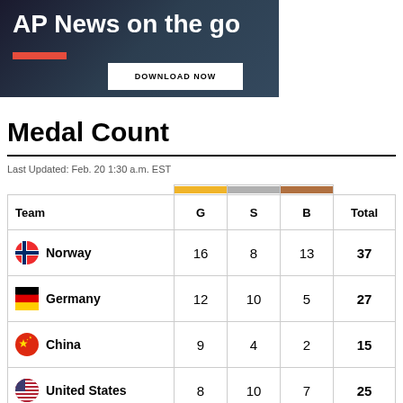[Figure (other): AP News on the go advertisement banner with dark background, red underline, and 'DOWNLOAD NOW' button]
Medal Count
Last Updated: Feb. 20 1:30 a.m. EST
| Team | G | S | B | Total |
| --- | --- | --- | --- | --- |
| Norway | 16 | 8 | 13 | 37 |
| Germany | 12 | 10 | 5 | 27 |
| China | 9 | 4 | 2 | 15 |
| United States | 8 | 10 | 7 | 25 |